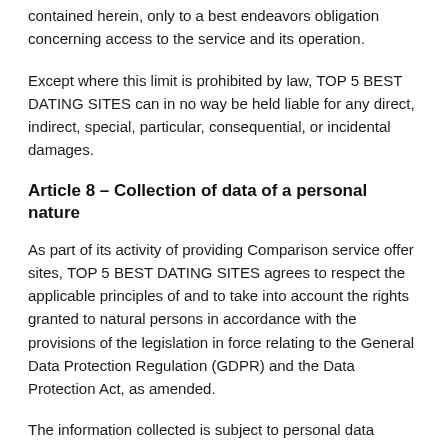contained herein, only to a best endeavors obligation concerning access to the service and its operation.
Except where this limit is prohibited by law, TOP 5 BEST DATING SITES can in no way be held liable for any direct, indirect, special, particular, consequential, or incidental damages.
Article 8 – Collection of data of a personal nature
As part of its activity of providing Comparison service offer sites, TOP 5 BEST DATING SITES agrees to respect the applicable principles of and to take into account the rights granted to natural persons in accordance with the provisions of the legislation in force relating to the General Data Protection Regulation (GDPR) and the Data Protection Act, as amended.
The information collected is subject to personal data processing by TOP 5 BEST DATING SITES as part of your use of the offer comparison site. The user is informed that TOP 5 BEST DATING SITES, as data controller, implements personal data processing